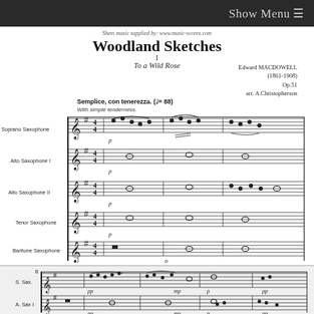Show Menu ≡
Sheet music supplied by: www.music-scores.com
Woodland Sketches
I
To a Wild Rose
Edward MACDOWELL
(1861-1908)
Op.51
arr. A.Christopherson
Semplice, con tenerezza. (♩= 88)
With simple tenderness.
[Figure (illustration): Sheet music score showing first system with five parts: Soprano Saxophone, Alto Saxophone I, Alto Saxophone II, Tenor Saxophone, Baritone Saxophone. Key signature 1 sharp, 4/4 time. Opening measures of Woodland Sketches No. 1 'To a Wild Rose' by Edward MacDowell, arranged for saxophone quintet.]
[Figure (illustration): Sheet music score showing second system (measure 8 onwards) with abbreviated part labels: S. Sax., A. Sax I. Dynamic markings pp, mp, p visible.]